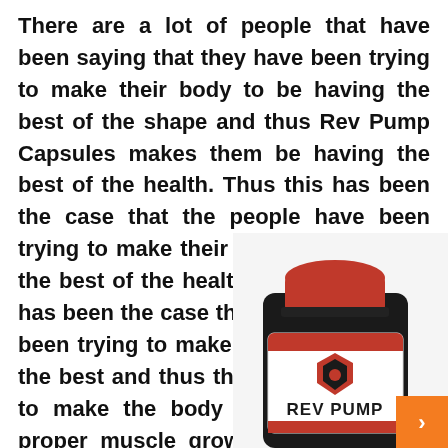There are a lot of people that have been saying that they have been trying to make their body to be having the best of the shape and thus Rev Pump Capsules makes them be having the best of the health. Thus this has been the case that the people have been trying to make their body to be having the best of the health. These days this has been the case that the people have been trying to make their body to look the best and thus they have to be able to make the body to be having the proper muscle growth and thus they need to have the proper nutrition for the body too. Men and women these days have been going to
[Figure (photo): A bottle of Rev Pump supplement capsules with a red cap and white label showing the Rev Pump logo and branding. An orange button with an arrow icon is visible in the bottom right corner.]